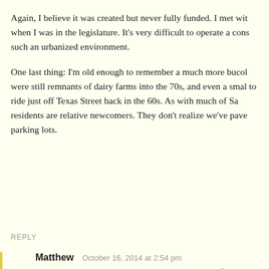Again, I believe it was created but never fully funded. I met with when I was in the legislature. It's very difficult to operate a cons such an urbanized environment.
One last thing: I'm old enough to remember a much more bucol were still remnants of dairy farms into the 70s, and even a smal to ride just off Texas Street back in the 60s. As with much of Sa residents are relative newcomers. They don't realize we've pave parking lots.
REPLY
Matthew   October 16, 2014 at 2:54 pm
You should quote that last line to Counting Crows before us And what open space is being batted over? A golf course, w high amount of water for the pleasure of a small group of pe UT site? An old, rotting boat and car dealership? An abando